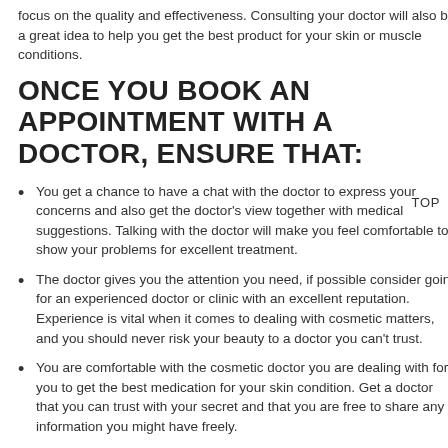focus on the quality and effectiveness. Consulting your doctor will also be a great idea to help you get the best product for your skin or muscle conditions.
ONCE YOU BOOK AN APPOINTMENT WITH A DOCTOR, ENSURE THAT:
You get a chance to have a chat with the doctor to express your concerns and also get the doctor's view together with medical suggestions. Talking with the doctor will make you feel comfortable to show your problems for excellent treatment.
The doctor gives you the attention you need, if possible consider going for an experienced doctor or clinic with an excellent reputation. Experience is vital when it comes to dealing with cosmetic matters, and you should never risk your beauty to a doctor you can't trust.
You are comfortable with the cosmetic doctor you are dealing with for you to get the best medication for your skin condition. Get a doctor that you can trust with your secret and that you are free to share any information you might have freely.
Don't put price first since that's where many people get it wrong;